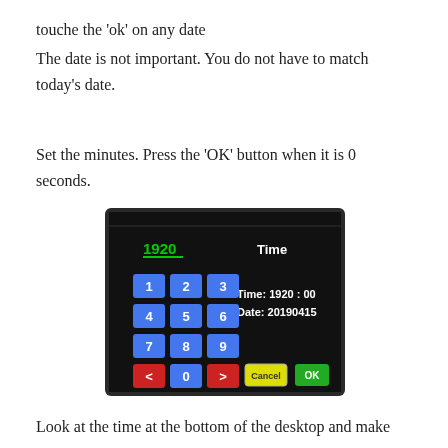touche the 'ok' on any date
The date is not important. You do not have to match today's date.
Set the minutes. Press the 'OK' button when it is 0 seconds.
[Figure (screenshot): A touchscreen interface showing a keypad with digits 1-9, 0, < and >, with display reading 'Time: 1920:00' and 'Date: 20190415', Cancel and OK buttons, and the label '1920' and 'Time' at the top.]
Look at the time at the bottom of the desktop and make